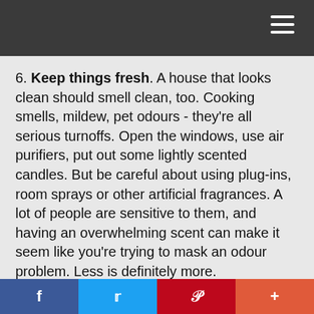6. Keep things fresh. A house that looks clean should smell clean, too. Cooking smells, mildew, pet odours - they're all serious turnoffs. Open the windows, use air purifiers, put out some lightly scented candles. But be careful about using plug-ins, room sprays or other artificial fragrances. A lot of people are sensitive to them, and having an overwhelming scent can make it seem like you're trying to mask an odour problem. Less is definitely more.
7. Relocate your pets. Fido or Fluffy might be friendly, but don't leave them at home during a showing. Not everyone is an animal lover, and no one wants to see
f  t  p  +